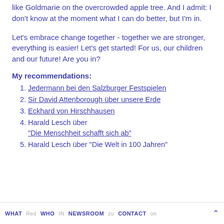like Goldmarie on the overcrowded apple tree. And I admit: I don't know at the moment what I can do better, but I'm in.
Let's embrace change together - together we are stronger, everything is easier! Let's get started! For us, our children and our future! Are you in?
My recommendations:
1. Jedermann bei den Salzburger Festspielen
2. Sir David Attenborough über unsere Erde
3. Eckhard von Hirschhausen
4. Harald Lesch über "Die Menschheit schafft sich ab"
5. Harald Lesch über "Die Welt in 100 Jahren"
WHAT WHO NEWSROOM CONTACT